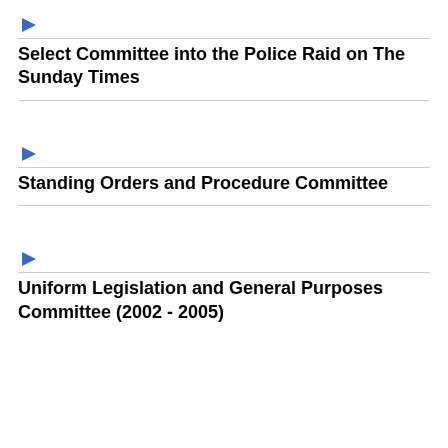Select Committee into the Police Raid on The Sunday Times
Standing Orders and Procedure Committee
Uniform Legislation and General Purposes Committee (2002 - 2005)